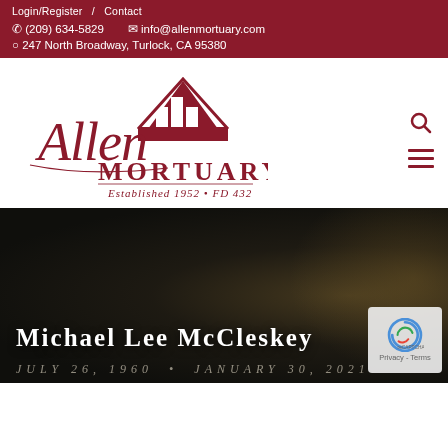Login/Register  /  Contact
(209) 634-5829    info@allenmortuary.com
247 North Broadway, Turlock, CA 95380
[Figure (logo): Allen Mortuary logo with cursive text and tent/building icon. Text reads: Allen MORTUARY, Established 1952 • FD 432]
Michael Lee McCleskey
July 26, 1960 • January 30, 2021